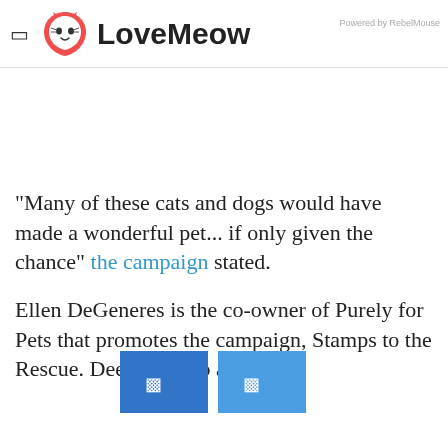LoveMeow — Powered by RebelMouse
"Many of these cats and dogs would have made a wonderful pet... if only given the chance" the campaign stated.
Ellen DeGeneres is the co-owner of Purely for Pets that promotes the campaign, Stamps to the Rescue. De[redacted]e and Halo are